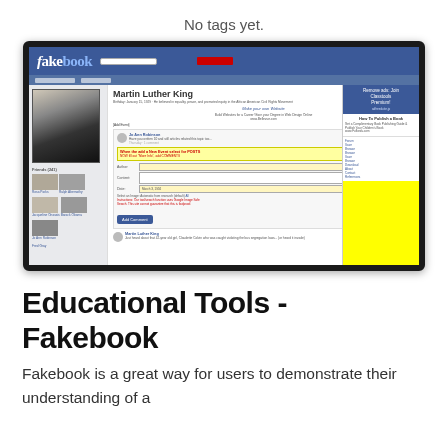No tags yet.
[Figure (screenshot): Screenshot of the Fakebook educational tool website, showing a fake Facebook-style profile page for Martin Luther King, with a blue header reading 'fakebook', a profile photo of MLK, profile information, comment forms, and a yellow advertisement sidebar.]
Educational Tools - Fakebook
Fakebook is a great way for users to demonstrate their understanding of a